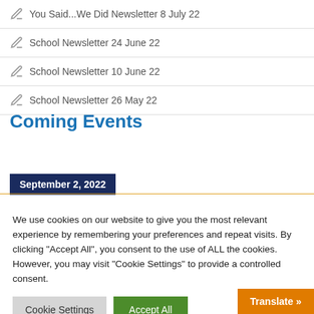You Said...We Did Newsletter 8 July 22
School Newsletter 24 June 22
School Newsletter 10 June 22
School Newsletter 26 May 22
Coming Events
September 2, 2022
We use cookies on our website to give you the most relevant experience by remembering your preferences and repeat visits. By clicking "Accept All", you consent to the use of ALL the cookies. However, you may visit "Cookie Settings" to provide a controlled consent.
Cookie Settings
Accept All
Translate »